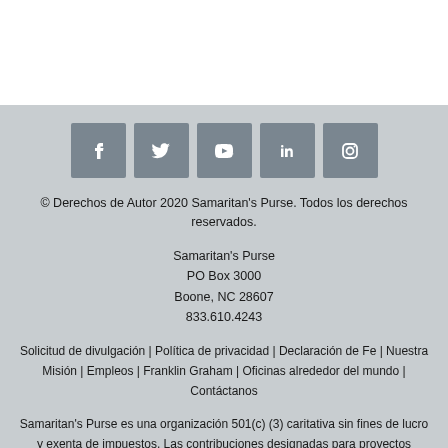[Figure (other): Social media icon buttons for Facebook, Twitter, YouTube, LinkedIn, and Instagram on gray background]
© Derechos de Autor 2020 Samaritan's Purse. Todos los derechos reservados.
Samaritan's Purse
PO Box 3000
Boone, NC 28607
833.610.4243
Solicitud de divulgación | Política de privacidad | Declaración de Fe | Nuestra Misión | Empleos | Franklin Graham | Oficinas alrededor del mundo | Contáctanos
Samaritan's Purse es una organización 501(c) (3) caritativa sin fines de lucro y exenta de impuestos. Las contribuciones designadas para proyectos específicos son aplicadas a esos proyectos con la excepción de un 10 por ciento para la administración de la donación. Ocasionalmente, recibimos más contribuciones para un proyecto determinado de las que se pueden aplicar abiertamente a ese proyecto. Cuando esto sucede,